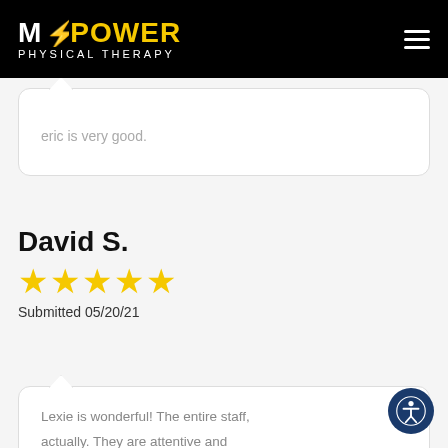[Figure (logo): MPower Physical Therapy logo on black header with hamburger menu]
eric is very good.
David S.
★★★★★
Submitted 05/20/21
Lexie is wonderful! The entire staff, actually. They are attentive and knowledgeable. And most importantly, they